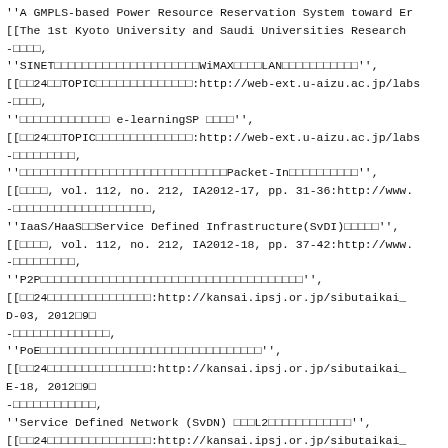''A GMPLS-based Power Resource Reservation System toward Er
[[The 1st Kyoto University and Saudi Universities Research
-□□□□,
''SINET□□□□□□□□□□□□□□□□□□□□□WiMAX□□□□LAN□□□□□□□□□□□'',
[[□□24□□TOPIC□□□□□□□□□□□□□□:http://web-ext.u-aizu.ac.jp/labs
-□□□□,
''□□□□□□□□□□□□□ e-learningSP □□□□'',
[[□□24□□TOPIC□□□□□□□□□□□□□□:http://web-ext.u-aizu.ac.jp/labs
-□□□□□□□□□,
''□□□□□□□□□□□□□□□□□□□□□□□□□□□□□□Packet-In□□□□□□□□□□'',
[[□□□□, vol. 112, no. 212, IA2012-17, pp. 31-36:http://www.
-□□□□□□□□□□□□□□□□□□□□,
''IaaS/HaaS□□Service Defined Infrastructure(SvDI)□□□□□'',
[[□□□□, vol. 112, no. 212, IA2012-18, pp. 37-42:http://www.
-□□□□□□□□□,
''P2P□□□□□□□□□□□□□□□□□□□□□□□□□□□□□□□□□□□□□□'',
[[□□24□□□□□□□□□□□□□□□:http://kansai.ipsj.or.jp/sibutaikai_
D-03, 2012□9□
-□□□□□□□□□□□□□□,
''PoE□□□□□□□□□□□□□□□□□□□□□□□□□□□□□□□□'',
[[□□24□□□□□□□□□□□□□□□:http://kansai.ipsj.or.jp/sibutaikai_
E-18, 2012□9□
-□□□□□□□□□□□□,
''Service Defined Network (SvDN) □□□L2□□□□□□□□□□□□'',
[[□□24□□□□□□□□□□□□□□□:http://kansai.ipsj.or.jp/sibutaikai_
E-21, 2012□9□
-□□□□,
''□□□□□□□□□□□□□□□□□□□□□□□□□□□□'',
□□□□□□□□2012□□□□□□□□□
pp. 1-2. 2012□9□